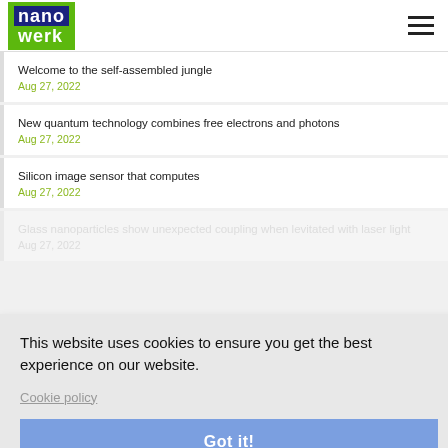nanowerk
Welcome to the self-assembled jungle
Aug 27, 2022
New quantum technology combines free electrons and photons
Aug 27, 2022
Silicon image sensor that computes
Aug 27, 2022
This website uses cookies to ensure you get the best experience on our website.
Cookie policy
Got it!
Glass nanoparticles show unexpected coupling when levitated with laser light
Aug 27, 2022
Full experimental determination of tunneling time with attosecond